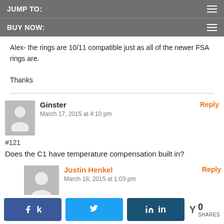JUMP TO:
BUY NOW:
Alex- the rings are 10/11 compatible just as all of the newer FSA rings are.

Thanks
Ginster
March 17, 2015 at 4:10 pm
#121
Does the C1 have temperature compensation built in?
Justin Henkel
March 18, 2015 at 1:03 pm